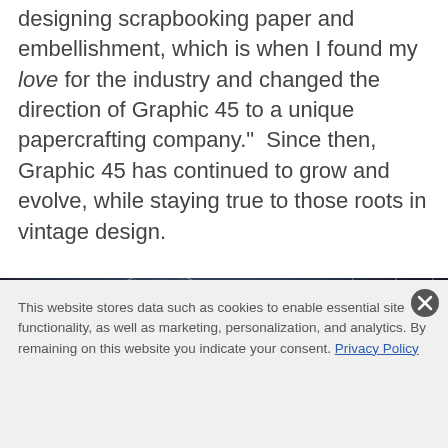designing scrapbooking paper and embellishment, which is when I found my love for the industry and changed the direction of Graphic 45 to a unique papercrafting company."  Since then, Graphic 45 has continued to grow and evolve, while staying true to those roots in vintage design.
[Figure (photo): Dark atmospheric banner image showing a vintage clock face and ornate 'graphic 45' script logo with warm hanging Edison bulbs in background]
This website stores data such as cookies to enable essential site functionality, as well as marketing, personalization, and analytics. By remaining on this website you indicate your consent. Privacy Policy